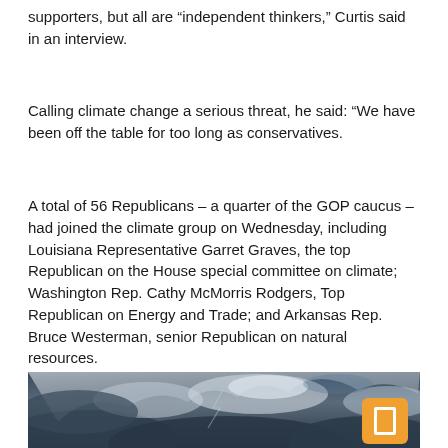supporters, but all are “independent thinkers,” Curtis said in an interview.
Calling climate change a serious threat, he said: “We have been off the table for too long as conservatives.
A total of 56 Republicans – a quarter of the GOP caucus – had joined the climate group on Wednesday, including Louisiana Representative Garret Graves, the top Republican on the House special committee on climate; Washington Rep. Cathy McMorris Rodgers, Top Republican on Energy and Trade; and Arkansas Rep. Bruce Westerman, senior Republican on natural resources.
[Figure (photo): Dark stormy cloudy sky photograph]